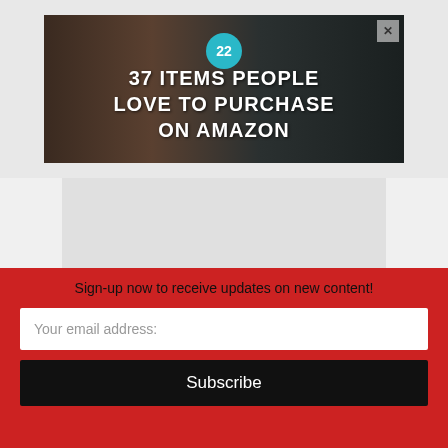[Figure (illustration): Advertisement banner showing food/kitchen items with text '22' badge and '37 ITEMS PEOPLE LOVE TO PURCHASE ON AMAZON' with a close X button]
FOLLOW CANADIEM
[Figure (illustration): Social media icon buttons: Facebook, LinkedIn, RSS/Play, Twitter]
Sign-up now to receive updates on new content!
Your email address:
Subscribe